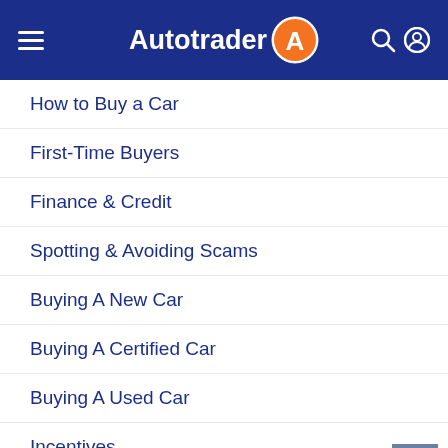Autotrader
How to Buy a Car
First-Time Buyers
Finance & Credit
Spotting & Avoiding Scams
Buying A New Car
Buying A Certified Car
Buying A Used Car
Incentives